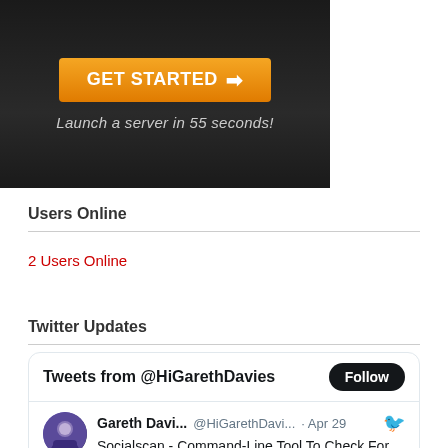[Figure (screenshot): Advertisement banner with dark background, orange 'GET STARTED' button with arrow, and text 'Launch a server in 55 seconds!']
Users Online
2 Users Online
Twitter Updates
[Figure (screenshot): Twitter widget showing 'Tweets from @HiGarethDavies' with Follow button, and a tweet from Gareth Davi... @HiGarethDavi... · Apr 29 about 'Socialscan - Command-Line Tool To Check For Email And Social Media Username Usage' with link darknet.org.uk/2022/04/social... via]